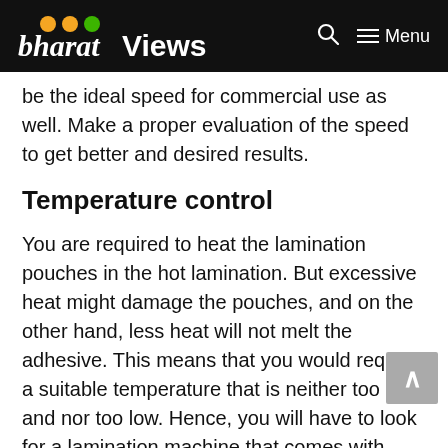bharatViews — Menu
be the ideal speed for commercial use as well. Make a proper evaluation of the speed to get better and desired results.
Temperature control
You are required to heat the lamination pouches in the hot lamination. But excessive heat might damage the pouches, and on the other hand, less heat will not melt the adhesive. This means that you would require a suitable temperature that is neither too high and nor too low. Hence, you will have to look for a lamination machine that comes with manual temperature control. Having access to